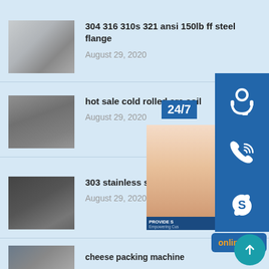304 316 310s 321 ansi 150lb ff steel flange
August 29, 2020
hot sale cold rolled crc coil
August 29, 2020
303 stainless seamless pipe
August 29, 2020
cheese packing machine